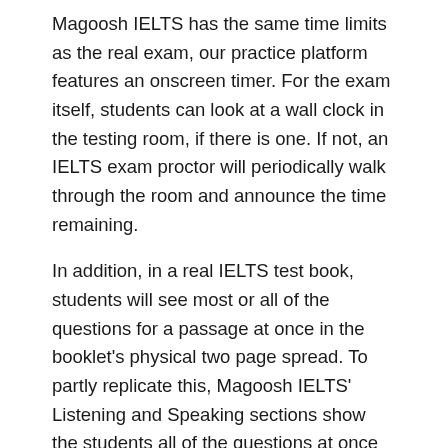Magoosh IELTS has the same time limits as the real exam, our practice platform features an onscreen timer. For the exam itself, students can look at a wall clock in the testing room, if there is one. If not, an IELTS exam proctor will periodically walk through the room and announce the time remaining.
In addition, in a real IELTS test book, students will see most or all of the questions for a passage at once in the booklet's physical two page spread. To partly replicate this, Magoosh IELTS' Listening and Speaking sections show the students all of the questions at once when they first pull up the Reading or Listening passage. From there, however, the students review each question on the screen one at a time, selecting their answer by clicking it.
Speaking of answer selection, obviously that's different in a real IELTS booklet vs. Magoosh's onscreen practice. On test day, students will physically mark answers on a printed answer sheet, which is separate from the booklet that